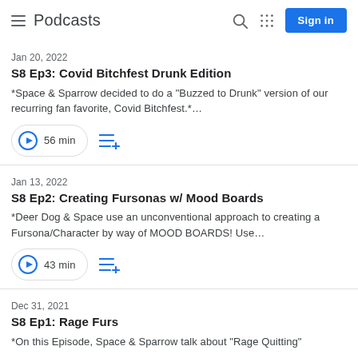Podcasts
Jan 20, 2022
S8 Ep3: Covid Bitchfest Drunk Edition
*Space & Sparrow decided to do a "Buzzed to Drunk" version of our recurring fan favorite, Covid Bitchfest.*...
56 min
Jan 13, 2022
S8 Ep2: Creating Fursonas w/ Mood Boards
*Deer Dog & Space use an unconventional approach to creating a Fursona/Character by way of MOOD BOARDS! Use...
43 min
Dec 31, 2021
S8 Ep1: Rage Furs
*On this Episode, Space & Sparrow talk about "Rage Quitting"